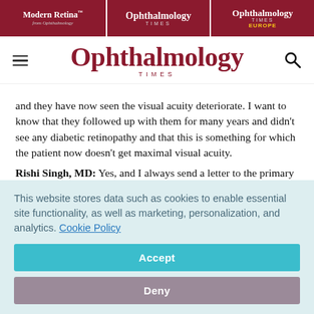Modern Retina | Ophthalmology Times | Ophthalmology Times Europe
[Figure (logo): Ophthalmology Times logo with hamburger menu and search icon]
and they have now seen the visual acuity deteriorate. I want to know that they followed up with them for many years and didn't see any diabetic retinopathy and that this is something for which the patient now doesn't get maximal visual acuity.
Rishi Singh, MD: Yes, and I always send a letter to the primary care provider because they usually have concurrent disease
This website stores data such as cookies to enable essential site functionality, as well as marketing, personalization, and analytics. Cookie Policy
Accept
Deny